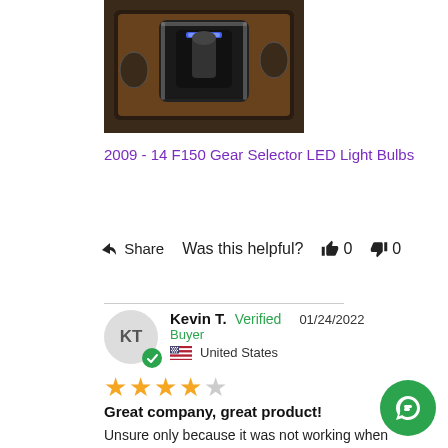[Figure (photo): Photo of a car center console gear selector area with LED light illumination]
2009 - 14 F150 Gear Selector LED Light Bulbs
Share   Was this helpful?  👍 0  👎 0
Kevin T.  Verified Buyer  01/24/2022  United States
★★★★☆
Great company, great product!
Unsure only because it was not working when I started and still not working after installation. Lead me to believe I have